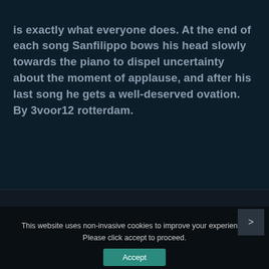is exactly what everyone does. At the end of each song Sanfilippo bows his head slowly towards the piano to dispel uncertainty about the moment of applause, and after his last song he gets a well-deserved ovation. By 3voor12 rotterdam.
Copyright © 2021 Bruno Sanfilippo.
This website uses non-invasive cookies to improve your experience. Please click accept to proceed.